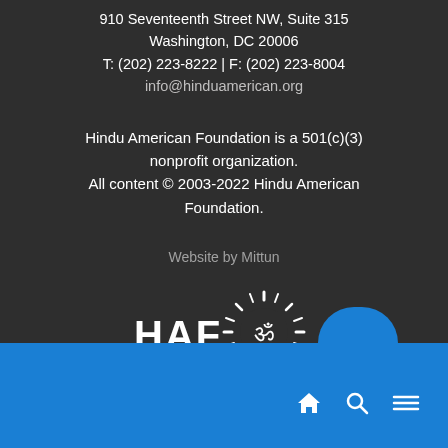910 Seventeenth Street NW, Suite 315
Washington, DC 20006
T: (202) 223-8222 | F: (202) 223-8004
info@hinduamerican.org
Hindu American Foundation is a 501(c)(3) nonprofit organization.
All content © 2003-2022 Hindu American Foundation.
Website by Mittun
[Figure (logo): HAF logo with Om symbol and sunburst design, text reads HAF with Om symbol]
Navigation bar with home, search, and menu icons